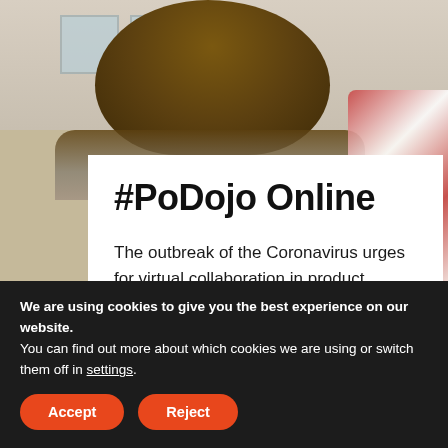[Figure (photo): Photo of a person with brown hair viewed from behind, in an indoor setting with other people visible in the background.]
#PoDojo Online
The outbreak of the Coronavirus urges for virtual collaboration in product teams. We are determined to help product people to continue to create meaningful connections, to learn and to collaborate even when meeting in person is disrupted. That's
We are using cookies to give you the best experience on our website.
You can find out more about which cookies we are using or switch them off in settings.
Accept   Reject